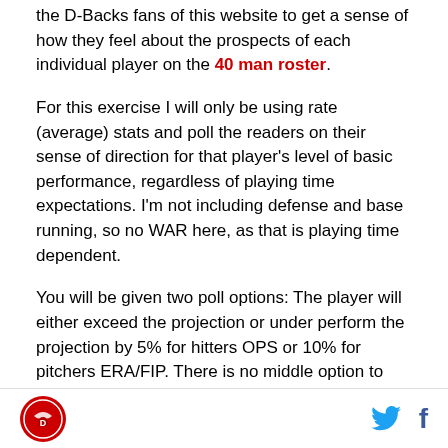the D-Backs fans of this website to get a sense of how they feel about the prospects of each individual player on the 40 man roster.
For this exercise I will only be using rate (average) stats and poll the readers on their sense of direction for that player's level of basic performance, regardless of playing time expectations. I'm not including defense and base running, so no WAR here, as that is playing time dependent.
You will be given two poll options: The player will either exceed the projection or under perform the projection by 5% for hitters OPS or 10% for pitchers ERA/FIP. There is no middle option to vote on. (Otherwise the